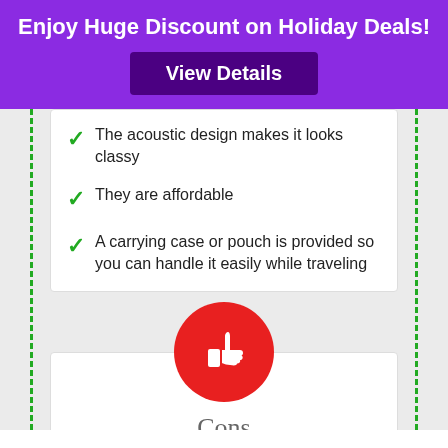Enjoy Huge Discount on Holiday Deals!
View Details
The acoustic design makes it looks classy
They are affordable
A carrying case or pouch is provided so you can handle it easily while traveling
[Figure (illustration): Red circle with white thumbs-down icon representing Cons section]
Cons